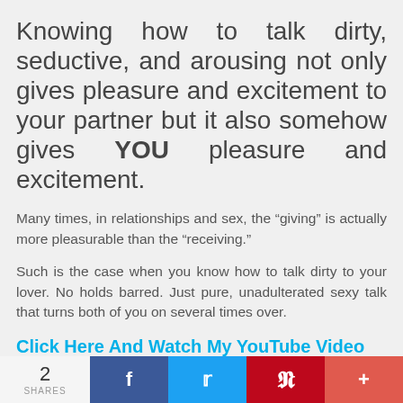Knowing how to talk dirty, seductive, and arousing not only gives pleasure and excitement to your partner but it also somehow gives YOU pleasure and excitement.
Many times, in relationships and sex, the “giving” is actually more pleasurable than the “receiving.”
Such is the case when you know how to talk dirty to your lover. No holds barred. Just pure, unadulterated sexy talk that turns both of you on several times over.
Click Here And Watch My YouTube Video
2 SHARES | Facebook | Twitter | Pinterest | More